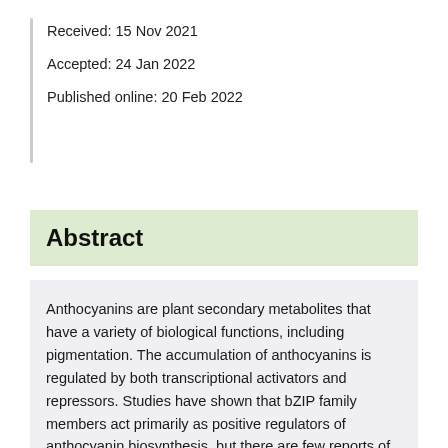Received: 15 Nov 2021
Accepted: 24 Jan 2022
Published online: 20 Feb 2022
Abstract
Anthocyanins are plant secondary metabolites that have a variety of biological functions, including pigmentation. The accumulation of anthocyanins is regulated by both transcriptional activators and repressors. Studies have shown that bZIP family members act primarily as positive regulators of anthocyanin biosynthesis, but there are few reports of negative regulation. Here, we